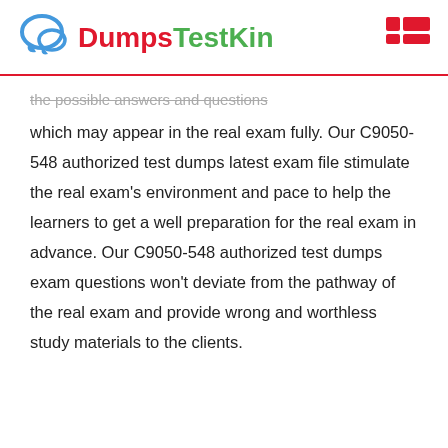DumpsTestKin
the possible answers and questions which may appear in the real exam fully. Our C9050-548 authorized test dumps latest exam file stimulate the real exam's environment and pace to help the learners to get a well preparation for the real exam in advance. Our C9050-548 authorized test dumps exam questions won't deviate from the pathway of the real exam and provide wrong and worthless study materials to the clients.